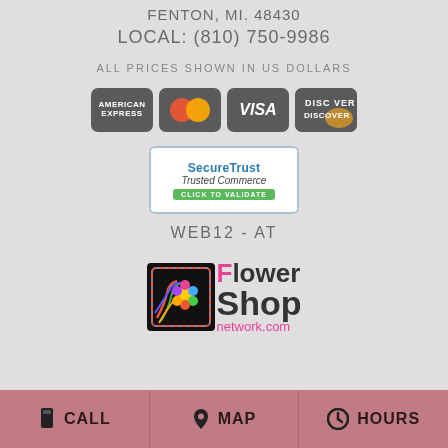FENTON, MI. 48430
LOCAL: (810) 750-9986
ALL PRICES SHOWN IN US DOLLARS
[Figure (logo): Payment card logos: American Express, Mastercard, Visa, Discover]
[Figure (logo): SecureTrust Trusted Commerce - Click to Validate badge]
WEB12-AT
[Figure (logo): Flower Shop Network logo with colorful icon]
CALL   MAP   HOURS